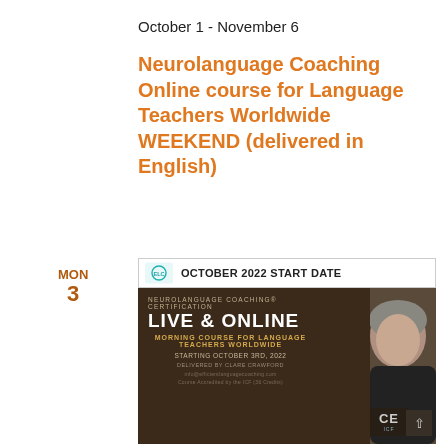October 1 - November 6
Neurolanguage Coaching Online course for Language Teachers Worldwide WEEKEND (delivered in English)
MON
3
[Figure (photo): Advertisement banner for Neurolanguage Coaching Certification Live & Online course. Shows: OCTOBER 2022 START DATE header, text 'NEUROLANGUAGE COACHING CERTIFICATION', 'LIVE & ONLINE', 'MORNING COURSE FOR LANGUAGE TEACHERS WORLDWIDE', 'STARTING OCTOBER 3RD, 2022', 'DELIVERED BY CLARE CRAWFORD', 'INFO@EFFICIENTLANGUAGECOACHING.COM', 'COURSE ACCREDITED BY THE ICF (36 CREDITS)', with a photo of a woman and a CE ICF badge.]